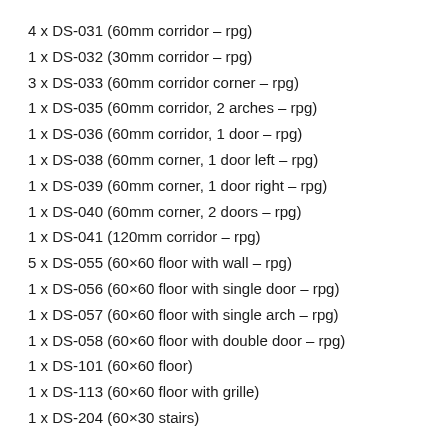4 x DS-031 (60mm corridor – rpg)
1 x DS-032 (30mm corridor – rpg)
3 x DS-033 (60mm corridor corner – rpg)
1 x DS-035 (60mm corridor, 2 arches – rpg)
1 x DS-036 (60mm corridor, 1 door – rpg)
1 x DS-038 (60mm corner, 1 door left – rpg)
1 x DS-039 (60mm corner, 1 door right – rpg)
1 x DS-040 (60mm corner, 2 doors – rpg)
1 x DS-041 (120mm corridor – rpg)
5 x DS-055 (60×60 floor with wall – rpg)
1 x DS-056 (60×60 floor with single door – rpg)
1 x DS-057 (60×60 floor with single arch – rpg)
1 x DS-058 (60×60 floor with double door – rpg)
1 x DS-101 (60×60 floor)
1 x DS-113 (60×60 floor with grille)
1 x DS-204 (60×30 stairs)
The walls on these pieces are 15mm high allowing for good visibility of players positions when playing RPGs.